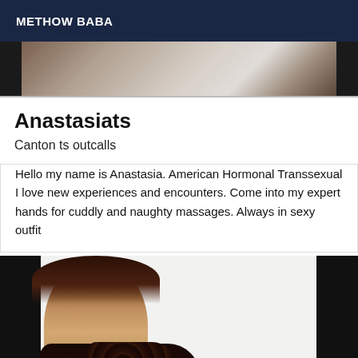METHOW BABA
[Figure (photo): Top cropped photo showing partial view of a person]
Anastasiats
Canton ts outcalls
Hello my name is Anastasia. American Hormonal Transsexual I love new experiences and encounters. Come into my expert hands for cuddly and naughty massages. Always in sexy outfit
[Figure (photo): Photo of a person with dark hair wearing a dark patterned outfit, smiling at camera]